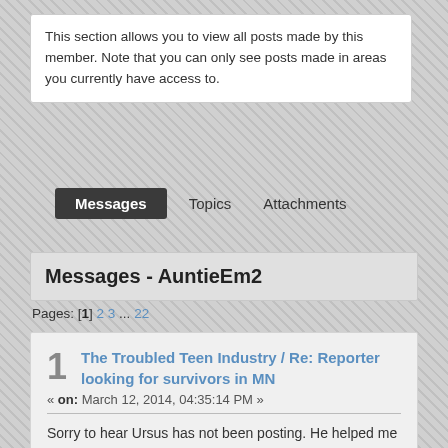This section allows you to view all posts made by this member. Note that you can only see posts made in areas you currently have access to.
Messages   Topics   Attachments
Messages - AuntieEm2
Pages: [1] 2 3 ... 22
1  The Troubled Teen Industry / Re: Reporter looking for survivors in MN
« on: March 12, 2014, 04:35:14 PM »
Sorry to hear Ursus has not been posting. He helped me a lot.

I'm still trying to locate survivors from Minnesota. Is there a facebook page that you recommend I post to?

Auntie Em